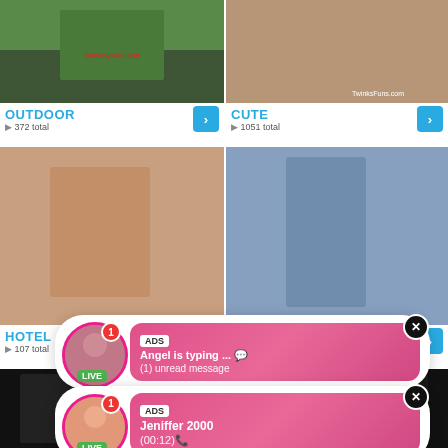[Figure (screenshot): Video thumbnail grid showing adult content website with category thumbnails, labels, view counts, navigation arrows, and two ad popup overlays with live chat notifications]
OUTDOOR
▶ 372 total
CUTE
▶ 1051 total
HOTEL
▶ 107 total
MUSCLE
▶ 398 total
ADS
Angel is typing ... 💬
(1) unread message
ADS
Jeniffer 2000
(00:12)📞